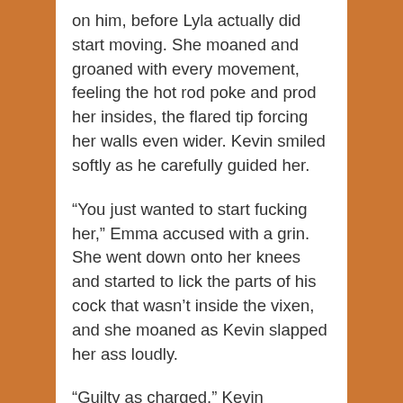on him, before Lyla actually did start moving. She moaned and groaned with every movement, feeling the hot rod poke and prod her insides, the flared tip forcing her walls even wider. Kevin smiled softly as he carefully guided her.
“You just wanted to start fucking her,” Emma accused with a grin. She went down onto her knees and started to lick the parts of his cock that wasn’t inside the vixen, and she moaned as Kevin slapped her ass loudly.
“Guilty as charged,” Kevin answered with a grin. He spanked Emma again, and made sure to keep one hand on Lyla’s thigh to make sure she wasn’t going too deep. The vixen winced every time she went down, and started to instinctively make sure